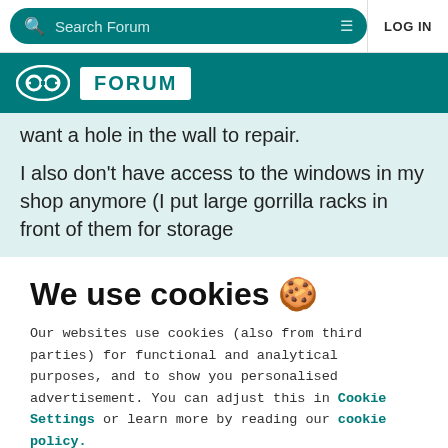Search Forum  LOG IN
[Figure (logo): Arduino Forum logo — infinity symbol and FORUM text on teal background]
want a hole in the wall to repair.
I also don't have access to the windows in my shop anymore (I put large gorrilla racks in front of them for storage
We use cookies 🍪
Our websites use cookies (also from third parties) for functional and analytical purposes, and to show you personalised advertisement. You can adjust this in Cookie Settings or learn more by reading our cookie policy.
ONLY REQUIRED
ACCEPT ALL